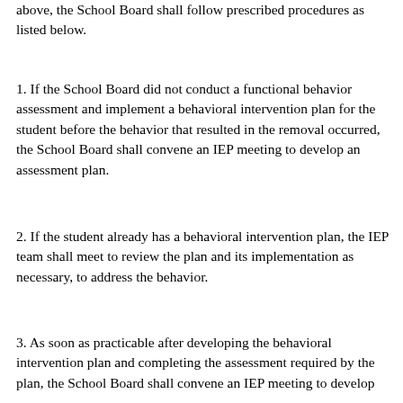above, the School Board shall follow prescribed procedures as listed below.
1. If the School Board did not conduct a functional behavior assessment and implement a behavioral intervention plan for the student before the behavior that resulted in the removal occurred, the School Board shall convene an IEP meeting to develop an assessment plan.
2. If the student already has a behavioral intervention plan, the IEP team shall meet to review the plan and its implementation as necessary, to address the behavior.
3. As soon as practicable after developing the behavioral intervention plan and completing the assessment required by the plan, the School Board shall convene an IEP meeting to develop an appropriate behavioral intervention plan, that addresses that behavior.